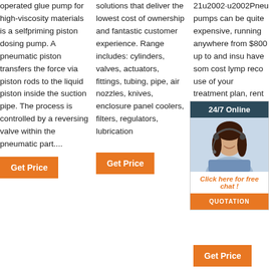operated glue pump for high-viscosity materials is a selfpriming piston dosing pump. A pneumatic piston transfers the force via piston rods to the liquid piston inside the suction pipe. The process is controlled by a reversing valve within the pneumatic part....
Get Price
solutions that deliver the lowest cost of ownership and fantastic customer experience. Range includes: cylinders, valves, actuators, fittings, tubing, pipe, air nozzles, knives, enclosure panel coolers, filters, regulators, lubrication
Get Price
21u2002·u2002Pneumatic pumps can be quite expensive, running anywhere from $800 up to and insu have som cost lymp reco use of your treatment plan, rent one first to try it out. If you and your therapist find...
[Figure (photo): Chat overlay with woman wearing headset, dark teal header reading 24/7 Online, italic orange text Click here for free chat!, orange QUOTATION button]
Get Price